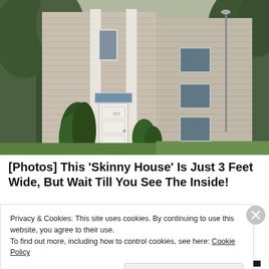[Figure (photo): Exterior photo of a two-story beige/tan colonial-style house with white trim, white front door with small window above it, evergreen shrubs flanking the entrance steps, green lawn, and trees in the background.]
[Photos] This 'Skinny House' Is Just 3 Feet Wide, But Wait Till You See The Inside!
Privacy & Cookies: This site uses cookies. By continuing to use this website, you agree to their use.
To find out more, including how to control cookies, see here: Cookie Policy
Close and accept